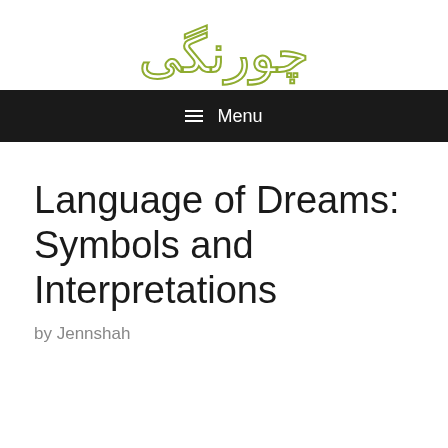چورنگی
≡ Menu
Language of Dreams: Symbols and Interpretations
by Jennshah